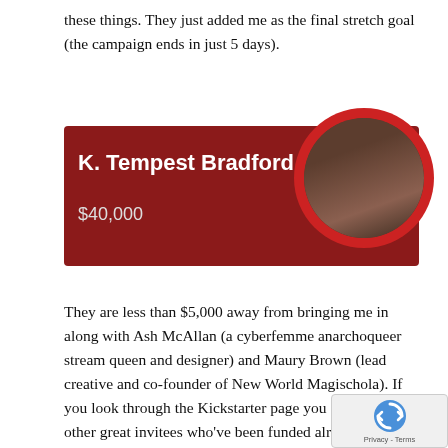these things. They just added me as the final stretch goal (the campaign ends in just 5 days).
[Figure (other): Kickstarter campaign banner for K. Tempest Bradford showing name in white bold text on dark red background with $40,000 goal amount, and a circular profile photo on the right]
They are less than $5,000 away from bringing me in along with Ash McAllan (a cyberfemme anarchoqueer stream queen and designer) and Maury Brown (lead creative and co-founder of New World Magischola). If you look through the Kickstarter page you can see all the other great invitees who've been funded already. I cannot wait to meet these people!
I'm also looking forward to attending Big Bad Con's first POC Dinner, organized by Ajit and inspired by the one we have at WisCon every year. I love that this idea keeps spreading (Isabel Schechter has brought it to at least 3 cons that I know of as well... yay).